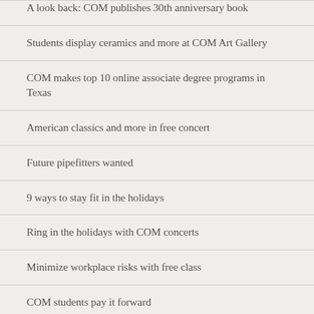A look back: COM publishes 30th anniversary book
Students display ceramics and more at COM Art Gallery
COM makes top 10 online associate degree programs in Texas
American classics and more in free concert
Future pipefitters wanted
9 ways to stay fit in the holidays
Ring in the holidays with COM concerts
Minimize workplace risks with free class
COM students pay it forward